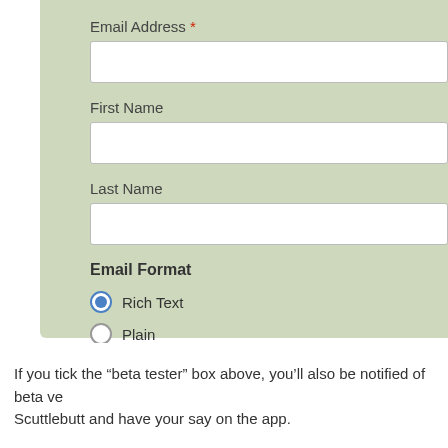Email Address *
First Name
Last Name
Email Format
Rich Text (selected)
Plain
SUBSCRIBE
If you tick the “beta tester” box above, you’ll also be notified of beta ve… Scuttlebutt and have your say on the app.